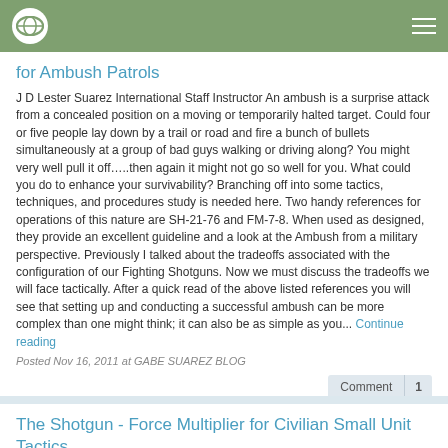Navigation bar with logo and menu
for Ambush Patrols
J D Lester Suarez International Staff Instructor An ambush is a surprise attack from a concealed position on a moving or temporarily halted target. Could four or five people lay down by a trail or road and fire a bunch of bullets simultaneously at a group of bad guys walking or driving along? You might very well pull it off…..then again it might not go so well for you. What could you do to enhance your survivability? Branching off into some tactics, techniques, and procedures study is needed here. Two handy references for operations of this nature are SH-21-76 and FM-7-8. When used as designed, they provide an excellent guideline and a look at the Ambush from a military perspective. Previously I talked about the tradeoffs associated with the configuration of our Fighting Shotguns. Now we must discuss the tradeoffs we will face tactically. After a quick read of the above listed references you will see that setting up and conducting a successful ambush can be more complex than one might think; it can also be as simple as you... Continue reading
Posted Nov 16, 2011 at GABE SUAREZ BLOG
Comment 1
The Shotgun - Force Multiplier for Civilian Small Unit Tactics